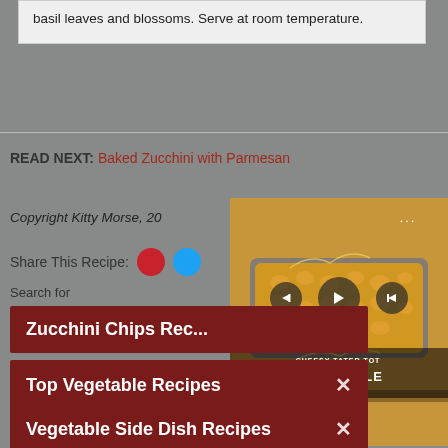basil leaves and blossoms. Serve at room temperature.
READ NEXT: Baked Zucchini with Parmesan
Copyright Kitty Morse, 20...
Share This Recipe:
Search for
[Figure (screenshot): Video thumbnail showing Cheesy Tater Tot Casserole dish with video player controls overlaid]
Zucchini Chips Rec...
Top Vegetable Recipes
Vegetable Side Dish Recipes